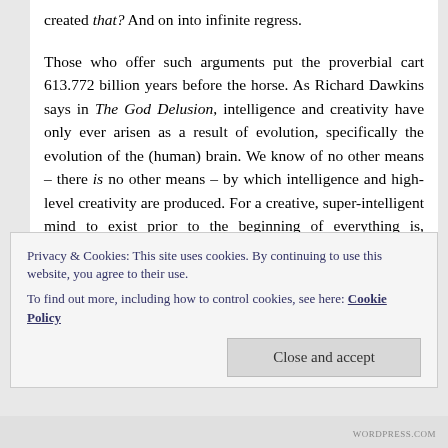created that? And on into infinite regress.

Those who offer such arguments put the proverbial cart 613.772 billion years before the horse. As Richard Dawkins says in The God Delusion, intelligence and creativity have only ever arisen as a result of evolution, specifically the evolution of the (human) brain. We know of no other means – there is no other means – by which intelligence and high-level creativity are produced. For a creative, super-intelligent mind to exist prior to the beginning of everything is, therefore, an impossibility. As I suggested in the second part of this series, the physical always precedes the immaterial; the natural world produced the advanced human brain about 200,000 years
Privacy & Cookies: This site uses cookies. By continuing to use this website, you agree to their use.
To find out more, including how to control cookies, see here: Cookie Policy